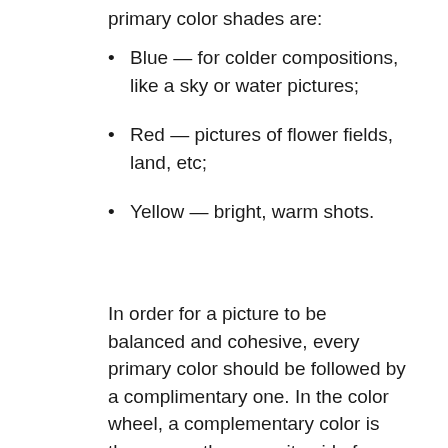primary color shades are:
Blue — for colder compositions, like a sky or water pictures;
Red — pictures of flower fields, land, etc;
Yellow — bright, warm shots.
In order for a picture to be balanced and cohesive, every primary color should be followed by a complimentary one. In the color wheel, a complementary color is the one on the opposite side from the main shade — green and red, yellow and blue, orange